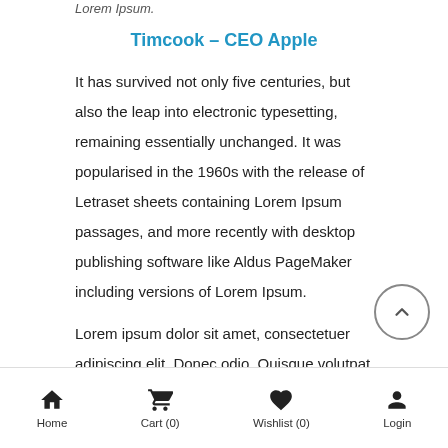Lorem Ipsum.
Timcook – CEO Apple
It has survived not only five centuries, but also the leap into electronic typesetting, remaining essentially unchanged. It was popularised in the 1960s with the release of Letraset sheets containing Lorem Ipsum passages, and more recently with desktop publishing software like Aldus PageMaker including versions of Lorem Ipsum.
Lorem ipsum dolor sit amet, consectetuer adipiscing elit. Donec odio. Quisque volutpat mattis eros. Nullam malesuada, at dignissim massa gravida. Donec eu libero aliquet, porttitor lacus elementum, sagittis dui. Pellentesque
Home  Cart (0)  Wishlist (0)  Login